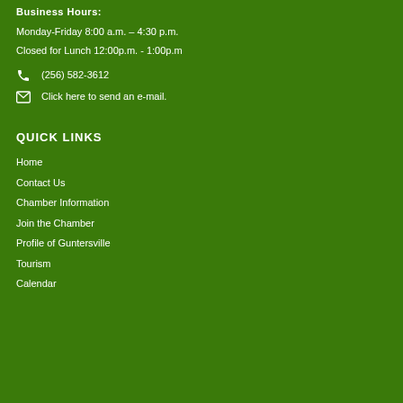Business Hours:
Monday-Friday 8:00 a.m. – 4:30 p.m.
Closed for Lunch 12:00p.m. - 1:00p.m
(256) 582-3612
Click here to send an e-mail.
QUICK LINKS
Home
Contact Us
Chamber Information
Join the Chamber
Profile of Guntersville
Tourism
Calendar